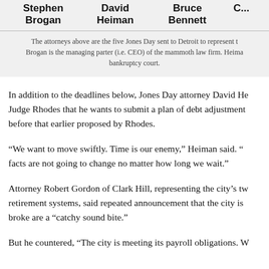| Stephen Brogan | David Heiman | Bruce Bennett | C... |
| --- | --- | --- | --- |
The attorneys above are the five Jones Day sent to Detroit to represent t... Brogan is the managing parter (i.e. CEO) of the mammoth law firm. Heima... bankruptcy court.
In addition to the deadlines below, Jones Day attorney David He... Judge Rhodes that he wants to submit a plan of debt adjustment... before that earlier proposed by Rhodes.
“We want to move swiftly. Time is our enemy,” Heiman said. “... facts are not going to change no matter how long we wait.”
Attorney Robert Gordon of Clark Hill, representing the city’s tw... retirement systems, said repeated announcement that the city is... broke are a “catchy sound bite.”
But he countered, “The city is meeting its payroll obligations. W...